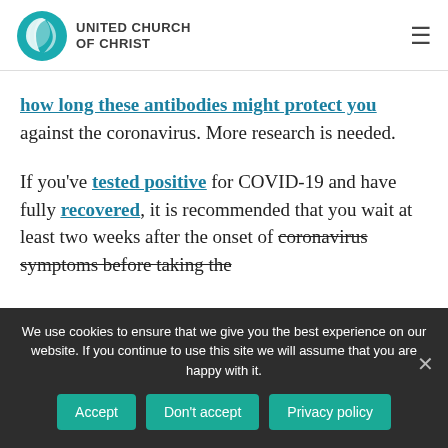UNITED CHURCH OF CHRIST
how long these antibodies might protect you against the coronavirus. More research is needed.
If you've tested positive for COVID-19 and have fully recovered, it is recommended that you wait at least two weeks after the onset of coronavirus symptoms before taking the
We use cookies to ensure that we give you the best experience on our website. If you continue to use this site we will assume that you are happy with it.
Accept | Don't accept | Privacy policy